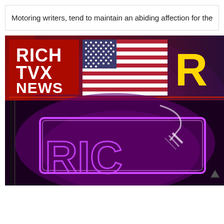Motoring writers, tend to maintain an abiding affection for the Trab
[Figure (screenshot): Rich TVX News broadcast screen showing logo with 'RICH TVX NEWS' text in white bold font, an American flag, and colorful neon-lit branding graphics with purple and red tones]